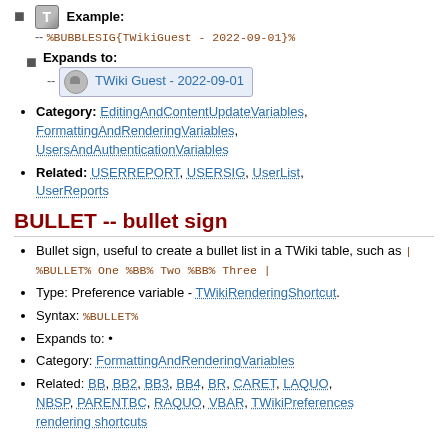Example: -- %BUBBLESIG{TWikiGuest - 2022-09-01}%
Expands to: -- [avatar] TWiki Guest - 2022-09-01
Category: EditingAndContentUpdateVariables, FormattingAndRenderingVariables, UsersAndAuthenticationVariables
Related: USERREPORT, USERSIG, UserList, UserReports
BULLET -- bullet sign
Bullet sign, useful to create a bullet list in a TWiki table, such as | %BULLET% One %BB% Two %BB% Three |
Type: Preference variable - TWikiRenderingShortcut.
Syntax: %BULLET%
Expands to: •
Category: FormattingAndRenderingVariables
Related: BB, BB2, BB3, BB4, BR, CARET, LAQUO, NBSP, PARENTBC, RAQUO, VBAR, TWikiPreferences rendering shortcuts